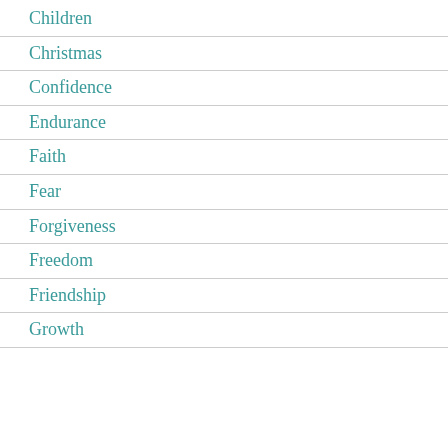Children
Christmas
Confidence
Endurance
Faith
Fear
Forgiveness
Freedom
Friendship
Growth